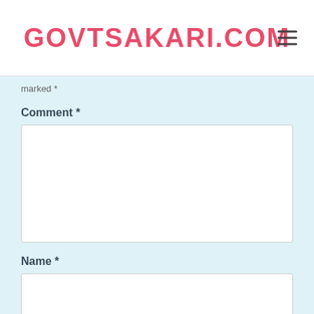GOVTSAKARI.COM
marked *
Comment *
Name *
Email *